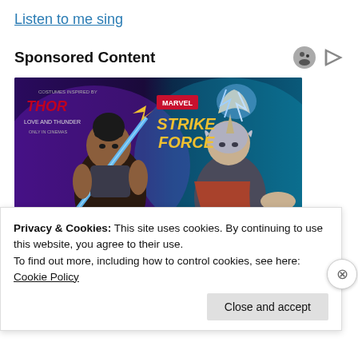Listen to me sing
Sponsored Content
[Figure (screenshot): Marvel Strike Force game promotional image featuring two female characters: one with a glowing blue sword and one in Thor costume with lightning hammer, with Thor Love and Thunder branding]
Privacy & Cookies: This site uses cookies. By continuing to use this website, you agree to their use.
To find out more, including how to control cookies, see here:
Cookie Policy
Close and accept